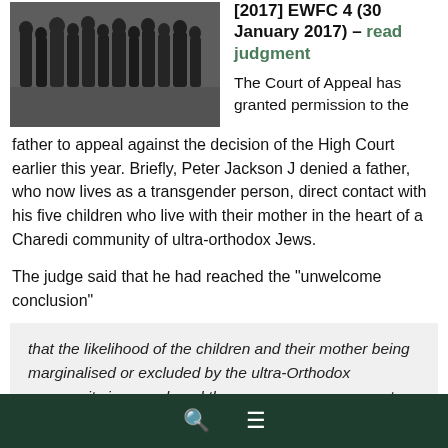[Figure (photo): Group of people in dark clothing walking together, appears to be an Orthodox Jewish community setting]
[2017] EWFC 4 (30 January 2017) – read judgment
The Court of Appeal has granted permission to the father to appeal against the decision of the High Court earlier this year. Briefly, Peter Jackson J denied a father, who now lives as a transgender person, direct contact with his five children who live with their mother in the heart of a Charedi community of ultra-orthodox Jews.
The judge said that he had reached the "unwelcome conclusion"
that the likelihood of the children and their mother being marginalised or excluded by the ultra-Orthodox community is so real, and the consequences so great,
Search and menu icons